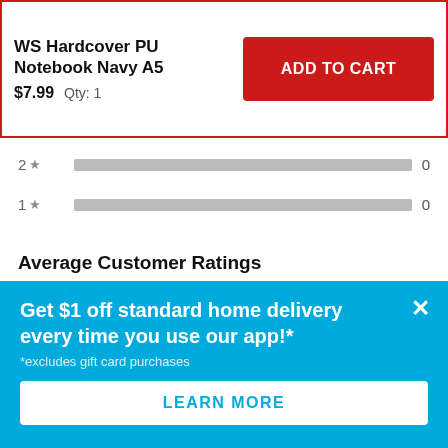WS Hardcover PU Notebook Navy A5
$7.99  Qty: 1
ADD TO CART
2 ★  0
1 ★  0
Average Customer Ratings
Overall  ★★★★☆  4.0
Get $1 off standard home delivery every time you use our app!*
*excludes gift card purchases
LEARN MORE